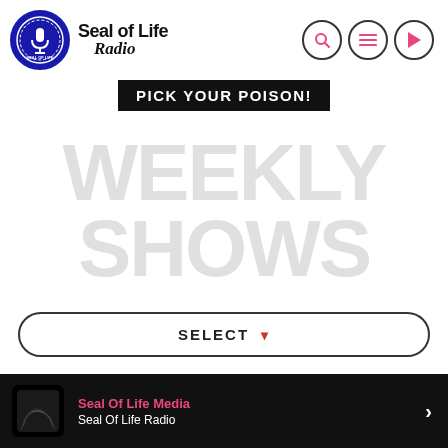[Figure (logo): Seal of Life Radio logo: circular blue seal badge on left, text 'Seal of Life Radio' in bold with 'Radio' in italic script. Three circular icon buttons on right (search, menu, play).]
PICK YOUR POISON!
WEEKLY SHOWS
SELECT
Seal Of Life Media
Seal Of Life Radio